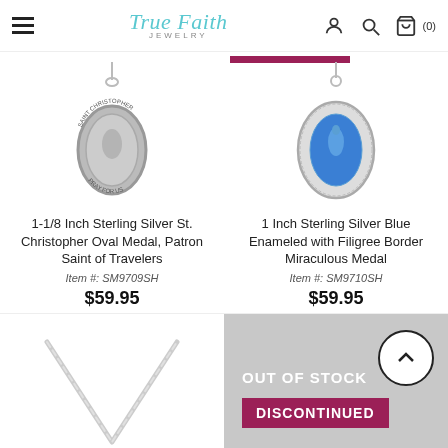True Faith Jewelry — navigation header with hamburger menu, logo, user icon, search icon, cart icon (0)
[Figure (photo): Saint Christopher sterling silver oval medal pendant on chain, antique silver finish, with text 'SAINT CHRISTOPHER PRAY FOR US']
1-1/8 Inch Sterling Silver St. Christopher Oval Medal, Patron Saint of Travelers
Item #: SM9709SH
$59.95
[Figure (photo): Sterling silver blue enameled Miraculous Medal with decorative filigree border pendant]
1 Inch Sterling Silver Blue Enameled with Filigree Border Miraculous Medal
Item #: SM9710SH
$59.95
[Figure (photo): Partial view of a silver chain necklace, V-shaped layout on white background]
OUT OF STOCK
DISCONTINUED